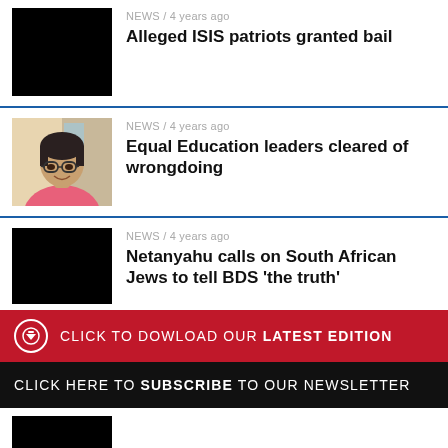[Figure (photo): Black thumbnail image for ISIS patriots news article]
NEWS / 4 years ago
Alleged ISIS patriots granted bail
[Figure (photo): Photo of a young man with glasses and pink shirt]
NEWS / 4 years ago
Equal Education leaders cleared of wrongdoing
[Figure (photo): Black thumbnail image for Netanyahu news article]
NEWS / 4 years ago
Netanyahu calls on South African Jews to tell BDS 'the truth'
CLICK TO DOWLOAD OUR LATEST EDITION
CLICK HERE TO SUBSCRIBE TO OUR NEWSLETTER
[Figure (photo): Black thumbnail image at bottom]